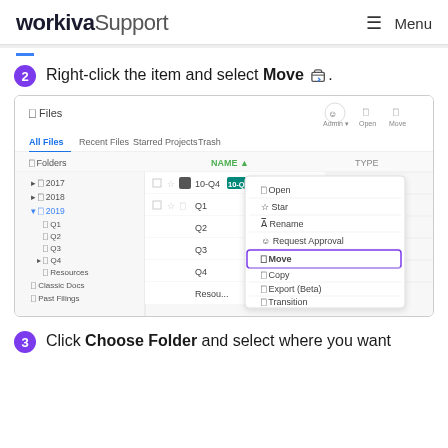workiva Support   Menu
2. Right-click the item and select Move.
[Figure (screenshot): Workiva Files interface screenshot showing a right-click context menu with options: Open, Star, Rename, Request Approval, Move (highlighted), Copy, Export (Beta), Transition, Linked Files Report, Permissions, Delete. The file tree shows 2017, 2018, 2019 (expanded with Q1, Q2, Q3, Q4, Resources), Classic Docs, Past Filings folders.]
3. Click Choose Folder and select where you want